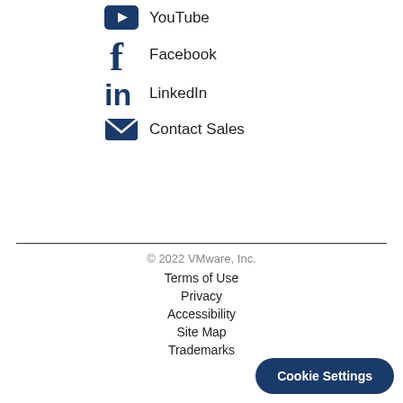YouTube
Facebook
LinkedIn
Contact Sales
© 2022 VMware, Inc.
Terms of Use
Privacy
Accessibility
Site Map
Trademarks
Cookie Settings